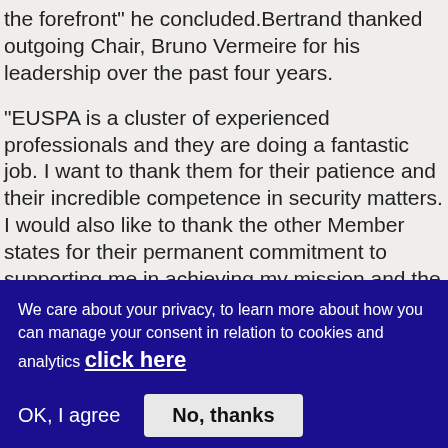the forefront" he concluded.Bertrand thanked outgoing Chair, Bruno Vermeire for his leadership over the past four years.
"EUSPA is a cluster of experienced professionals and they are doing a fantastic job. I want to thank them for their patience and their incredible competence in security matters. I would also like to thank the other Member states for their permanent commitment to supporting me in achieving my mission and the European Commission for their collaboration" were Vermeire's final remarks.
"The only way to ensure the security of each and every
We care about your privacy, to learn more about how you can manage your consent in relation to cookies and analytics click here
OK, I agree    No, thanks